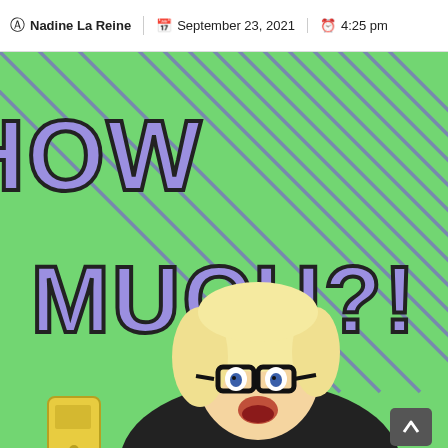Nadine La Reine  September 23, 2021  4:25 pm
[Figure (illustration): Comic-style illustration on a green background with diagonal purple stripes. Large purple bubble-letter text reads 'HOW MUCH?!' in two lines. In the bottom half, a cartoon woman with blonde hair and black glasses looks shocked, holding what appears to be a yellow card/bill. A dark scroll-to-top button appears in the bottom right corner.]